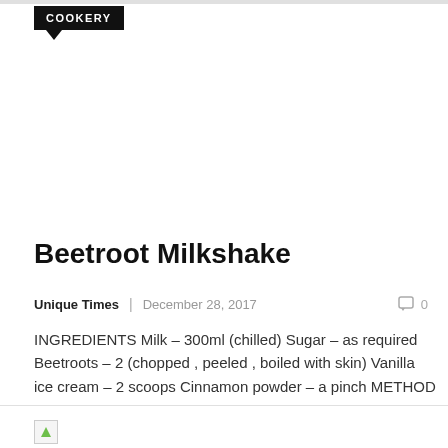COOKERY
Beetroot Milkshake
Unique Times  |  December 28, 2017   0
INGREDIENTS Milk  –  300ml (chilled) Sugar – as required Beetroots – 2  (chopped , peeled , boiled with skin) Vanilla ice cream – 2 scoops Cinnamon powder – a pinch METHOD   In